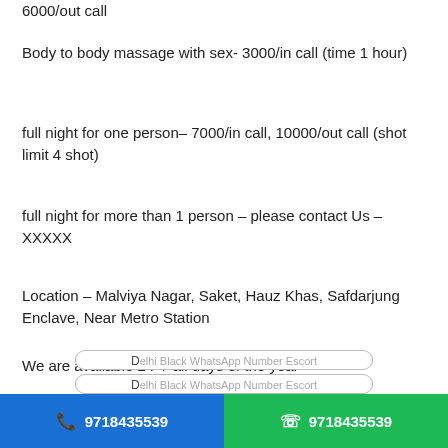6000/out call
Body to body massage with sex- 3000/in call (time 1 hour)
full night for one person– 7000/in call, 10000/out call (shot limit 4 shot)
full night for more than 1 person – please contact Us – XXXXX
Location – Malviya Nagar, Saket, Hauz Khas, Safdarjung Enclave, Near Metro Station
We are available 24*7 all days of the year
Call us – XXXXX Thank you for Visiting.
[Figure (other): Two pill-shaped link buttons at the bottom of the page, partially visible. Below them, a blue call button showing phone icon and 9718435539, and a green WhatsApp button showing WhatsApp icon and 9718435539.]